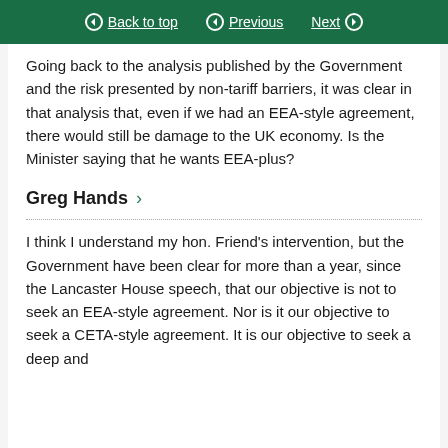Back to top | Previous | Next
Going back to the analysis published by the Government and the risk presented by non-tariff barriers, it was clear in that analysis that, even if we had an EEA-style agreement, there would still be damage to the UK economy. Is the Minister saying that he wants EEA-plus?
Greg Hands
I think I understand my hon. Friend's intervention, but the Government have been clear for more than a year, since the Lancaster House speech, that our objective is not to seek an EEA-style agreement. Nor is it our objective to seek a CETA-style agreement. It is our objective to seek a deep and